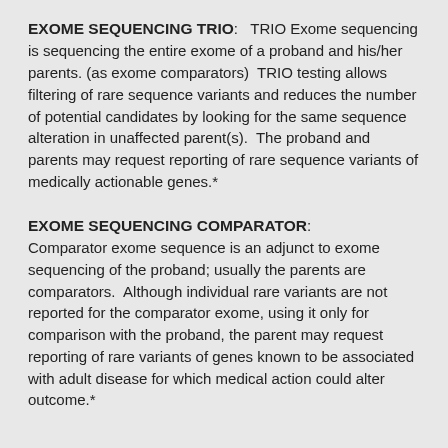EXOME SEQUENCING TRIO: TRIO Exome sequencing is sequencing the entire exome of a proband and his/her parents. (as exome comparators) TRIO testing allows filtering of rare sequence variants and reduces the number of potential candidates by looking for the same sequence alteration in unaffected parent(s). The proband and parents may request reporting of rare sequence variants of medically actionable genes.*
EXOME SEQUENCING COMPARATOR: Comparator exome sequence is an adjunct to exome sequencing of the proband; usually the parents are comparators. Although individual rare variants are not reported for the comparator exome, using it only for comparison with the proband, the parent may request reporting of rare variants of genes known to be associated with adult disease for which medical action could alter outcome.*